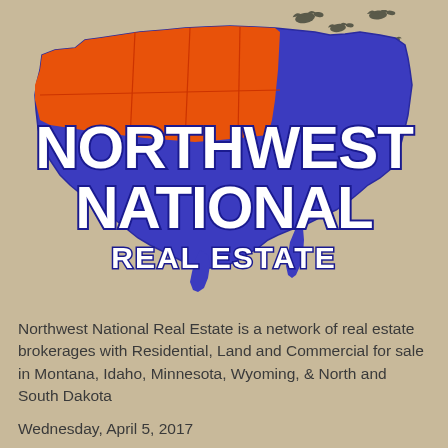[Figure (logo): Northwest National Real Estate logo — silhouette of the contiguous United States filled in blue/purple with northwestern states highlighted in orange-red; large white bold text 'NORTHWEST NATIONAL' overlaid on the map with blue outline/shadow; smaller white bold text 'REAL ESTATE' below; flying birds (geese) in dark silhouette in the upper-right area above the map, on a tan/beige background.]
Northwest National Real Estate is a network of real estate brokerages with Residential, Land and Commercial for sale in Montana, Idaho, Minnesota, Wyoming, & North and South Dakota
Wednesday, April 5, 2017